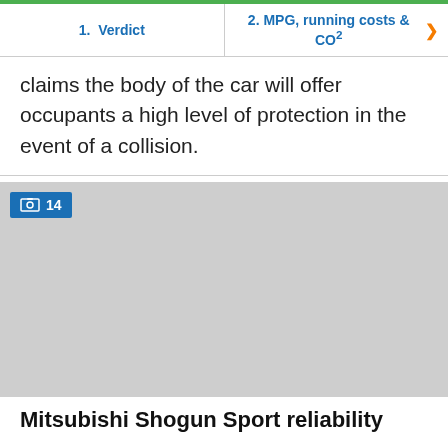1. Verdict | 2. MPG, running costs & CO2
claims the body of the car will offer occupants a high level of protection in the event of a collision.
[Figure (photo): Grey placeholder image area with a blue badge showing image count '14']
Mitsubishi Shogun Sport reliability